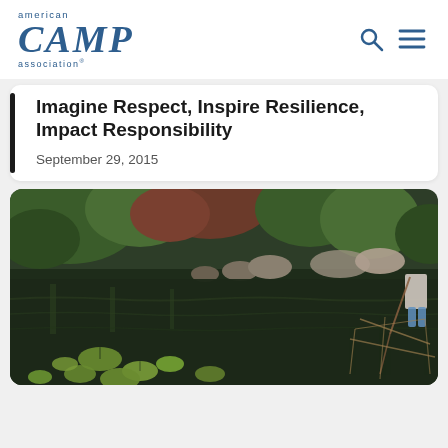american CAMP association®
Imagine Respect, Inspire Resilience, Impact Responsibility
September 29, 2015
[Figure (photo): Outdoor nature scene showing a calm pond or lake with lily pads in the foreground, green trees and rocky shore reflected in the water, and a child visible at the right edge holding a fishing rod or stick near the water.]